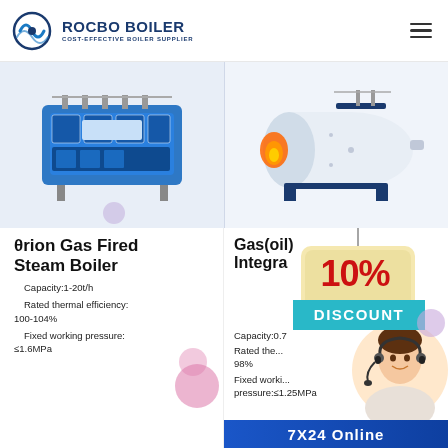[Figure (logo): Rocbo Boiler logo with circular wave icon and text 'ROCBO BOILER / COST-EFFECTIVE BOILER SUPPLIER']
[Figure (photo): Blue and white modular gas fired steam boiler unit (θrion series) on left product panel]
[Figure (photo): White horizontal gas/oil fired steam boiler on right product panel]
θrion Gas Fired Steam Boiler
Capacity:1-20t/h
Rated thermal efficiency: 100-104%
Fixed working pressure: ≤1.6MPa
Gas(oil) Integrated
[Figure (infographic): 10% DISCOUNT promotional badge in red and teal]
Capacity:0.7
Rated the... 98%
Fixed working pressure:≤1.25MPa
[Figure (photo): Customer service representative with headset]
7X24 Online